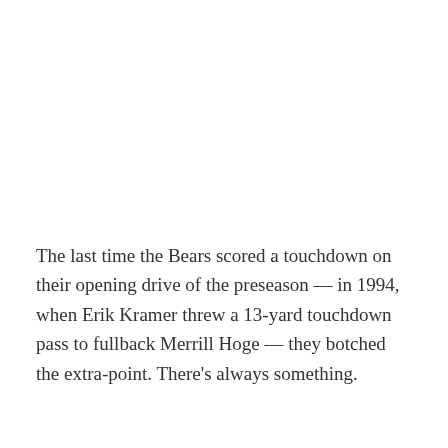The last time the Bears scored a touchdown on their opening drive of the preseason — in 1994, when Erik Kramer threw a 13-yard touchdown pass to fullback Merrill Hoge — they botched the extra-point. There's always something.